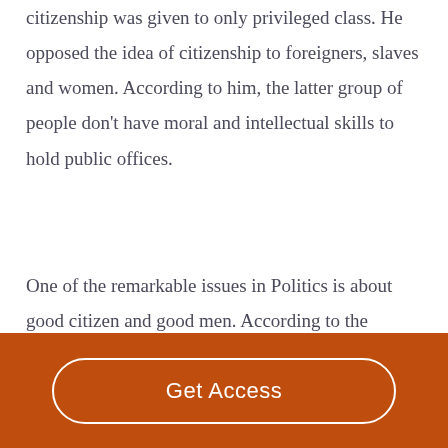citizenship was given to only privileged class. He opposed the idea of citizenship to foreigners, slaves and women. According to him, the latter group of people don't have moral and intellectual skills to hold public offices.
One of the remarkable issues in Politics is about good citizen and good men. According to the
Get Access